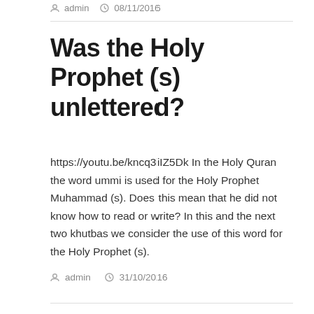admin  08/11/2016
Was the Holy Prophet (s) unlettered?
https://youtu.be/kncq3iIZ5Dk In the Holy Quran the word ummi is used for the Holy Prophet Muhammad (s). Does this mean that he did not know how to read or write? In this and the next two khutbas we consider the use of this word for the Holy Prophet (s).
admin  31/10/2016